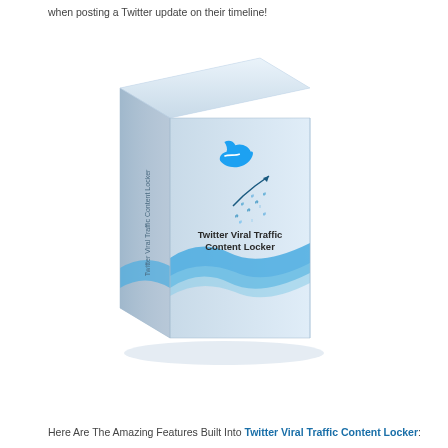when posting a Twitter update on their timeline!
[Figure (illustration): 3D product box illustration for 'Twitter Viral Traffic Content Locker' featuring a Twitter bird logo, hashtag growth chart, and blue wave design on a light grey box]
Here Are The Amazing Features Built Into Twitter Viral Traffic Content Locker: